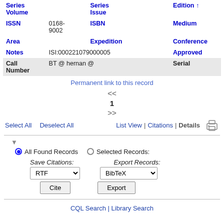| Field | Value | Field | Value |
| --- | --- | --- | --- |
| Series Volume |  | Series Issue |  | Edition ↑ |  |
| ISSN | 0168-9002 | ISBN |  | Medium |  |
| Area |  | Expedition |  | Conference |  |
| Notes | ISI:000221079000005 |  |  | Approved |  |
| Call Number | BT @ hernan @ |  |  | Serial |  |
Permanent link to this record
<< 1 >>
Select All  Deselect All  List View | Citations | Details
▼ All Found Records  Selected Records:
Save Citations: RTF  Export Records: BibTeX
Cite  Export
CQL Search | Library Search